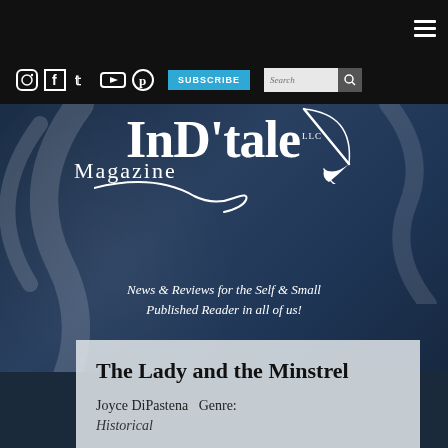≡ (hamburger menu icon)
Instagram Facebook Twitter YouTube Pinterest SUBSCRIBE Search
[Figure (logo): InD'tale Magazine LLC logo with stylized script lettering and quill pen decoration in white on dark blue background]
News & Reviews for the Self & Small Published Reader in all of us!
The Lady and the Minstrel
Joyce DiPastena Genre: Historical